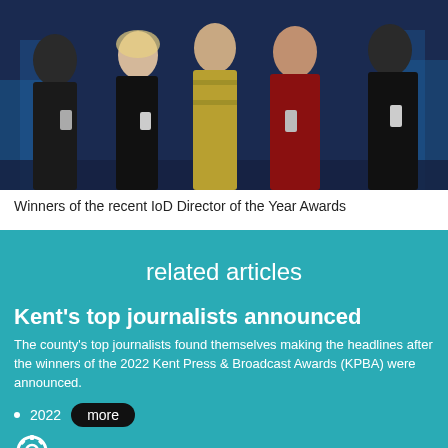[Figure (photo): Group photo of award winners at the IoD Director of the Year Awards, standing on a blue-lit stage holding trophies]
Winners of the recent IoD Director of the Year Awards
related articles
Kent's top journalists announced
The county's top journalists found themselves making the headlines after the winners of the 2022 Kent Press & Broadcast Awards (KPBA) were announced.
2022   more